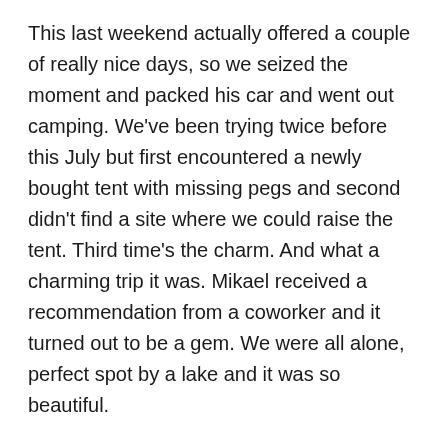This last weekend actually offered a couple of really nice days, so we seized the moment and packed his car and went out camping. We've been trying twice before this July but first encountered a newly bought tent with missing pegs and second didn't find a site where we could raise the tent. Third time's the charm. And what a charming trip it was. Mikael received a recommendation from a coworker and it turned out to be a gem. We were all alone, perfect spot by a lake and it was so beautiful.
We raised the tent, took a short swim in the lake, cooked dinner over the gas kitchen and then slept through a night of no sounds whatsoever. It was so quiet and peaceful! Except that time when I woke up at 5am to hear a very weird sound. A lynx wandering on the other side of the lake, walking away from us. It was so amazing!